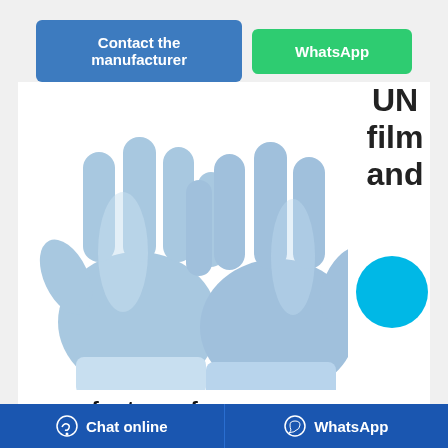[Figure (other): Two blue nitrile/latex protective gloves shown side by side on a white background]
UN
film
and
game for teens focuses on protecting ozone layer
Jan 25, 2021·CAMEROON, Cameroon — The United Nations launched an animated film and game on Sunday aimed at engaging Gen Z
Chat online    WhatsApp